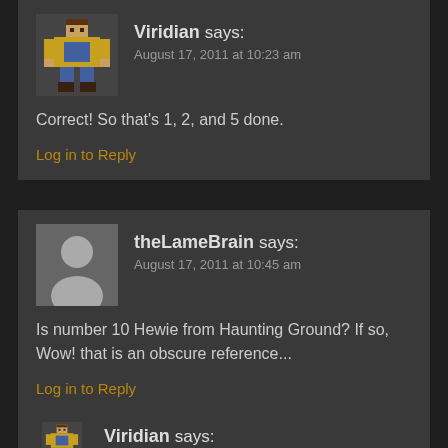Viridian says: August 17, 2011 at 10:23 am
Correct! So that's 1, 2, and 5 done.
Log in to Reply
theLameBrain says: August 17, 2011 at 10:45 am
Is number 10 Hewie from Haunting Ground? If so, Wow! that is an obscure reference...
Log in to Reply
Viridian says: